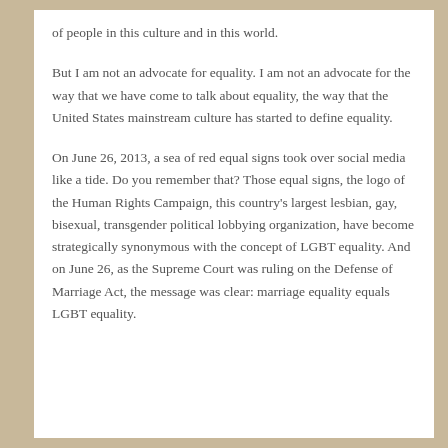of people in this culture and in this world.
But I am not an advocate for equality. I am not an advocate for the way that we have come to talk about equality, the way that the United States mainstream culture has started to define equality.
On June 26, 2013, a sea of red equal signs took over social media like a tide. Do you remember that? Those equal signs, the logo of the Human Rights Campaign, this country's largest lesbian, gay, bisexual, transgender political lobbying organization, have become strategically synonymous with the concept of LGBT equality. And on June 26, as the Supreme Court was ruling on the Defense of Marriage Act, the message was clear: marriage equality equals LGBT equality.